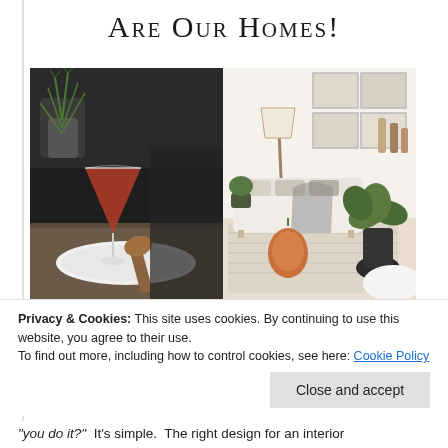Are Our Homes!
[Figure (photo): Two side-by-side photos: left shows a red cocktail in a coupe glass on a white plate with a wooden citrus juicer and green herbs in a white pot against a dark background; right shows a bright Scandinavian-style living room with white sofa, framed art, plants, a floor lamp, and an orange pumpkin on a woven rug.]
Privacy & Cookies: This site uses cookies. By continuing to use this website, you agree to their use.
To find out more, including how to control cookies, see here: Cookie Policy
Close and accept
“you do it?”  It’s simple.  The right design for an interior